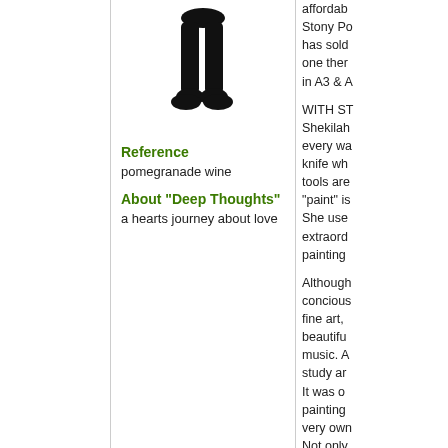[Figure (illustration): Black silhouette of a person standing, shown from roughly mid-torso down to feet, against a white background.]
Reference
pomegranade wine
About "Deep Thoughts"
a hearts journey about love
affordab... Stony P... has sold... one ther... in A3 & A...
WITH S... Shekilah... every w... knife wh... tools are... "paint" is... She use... extraord... painting...
Although... concious... fine art,... beautifu... music. A... study ar... It was o... painting... very ow... Not only... her deep... uncondi... a specia...